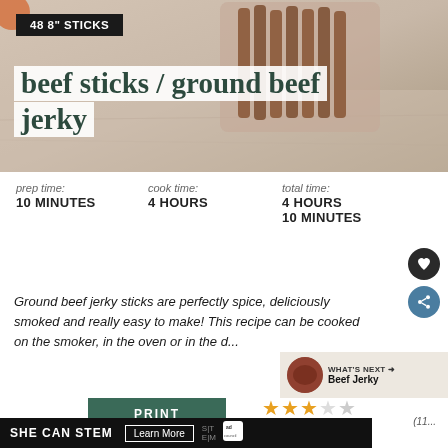[Figure (photo): Photo of beef jerky sticks in a glass jar on a marble surface]
48 8" STICKS
beef sticks / ground beef jerky
prep time: 10 MINUTES
cook time: 4 HOURS
total time: 4 HOURS 10 MINUTES
Ground beef jerky sticks are perfectly spice, deliciously smoked and really easy to make! This recipe can be cooked on the smoker, in the oven or in the d...
WHAT'S NEXT → Beef Jerky
PRINT
[Figure (other): Star rating: approximately 3 out of 5 stars]
(11... )
SHE CAN STEM   Learn More